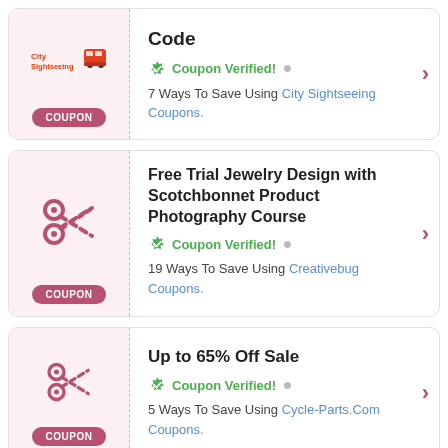[Figure (infographic): Coupon card 1: City Sightseeing logo with bus icon, COUPON badge on left. Right: 'Code' title, Coupon Verified! badge, '7 Ways To Save Using City Sightseeing Coupons.' text, right arrow.]
[Figure (infographic): Coupon card 2: Scissors icon, COUPON badge on left. Right: 'Free Trial Jewelry Design with Scotchbonnet Product Photography Course' title, Coupon Verified! badge, '19 Ways To Save Using Creativebug Coupons.' text, right arrow.]
[Figure (infographic): Coupon card 3: Scissors icon, COUPON badge on left. Right: 'Up to 65% Off Sale' title, Coupon Verified! badge, '5 Ways To Save Using Cycle-Parts.Com Coupons.' text, right arrow.]